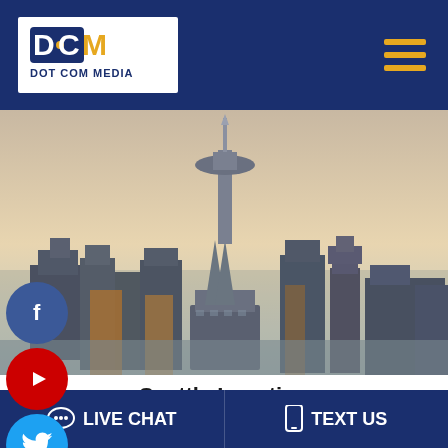DOT COM MEDIA
[Figure (photo): Seattle skyline with Space Needle at sunset/dusk, golden hues in background]
Seattle Location
8128 – 200th SW Street
Edmonds, WA 98026
LIVE CHAT   TEXT US